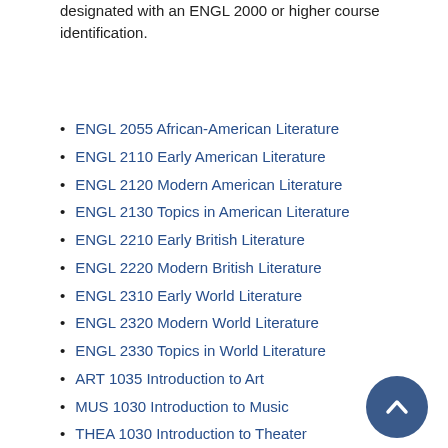designated with an ENGL 2000 or higher course identification.
ENGL 2055 African-American Literature
ENGL 2110 Early American Literature
ENGL 2120 Modern American Literature
ENGL 2130 Topics in American Literature
ENGL 2210 Early British Literature
ENGL 2220 Modern British Literature
ENGL 2310 Early World Literature
ENGL 2320 Modern World Literature
ENGL 2330 Topics in World Literature
ART 1035 Introduction to Art
MUS 1030 Introduction to Music
THEA 1030 Introduction to Theater
ENGL 2860 Introduction to Film